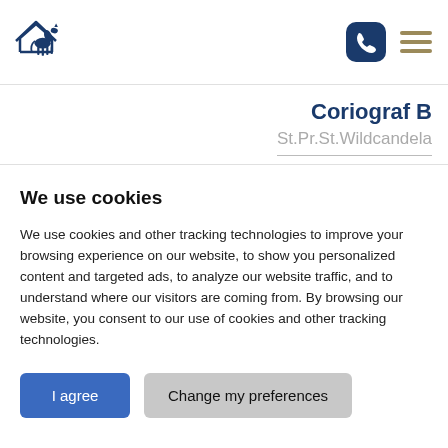[Figure (logo): Horse and mountain logo in dark navy blue]
Coriograf B
St.Pr.St.Wildcandela
We use cookies
We use cookies and other tracking technologies to improve your browsing experience on our website, to show you personalized content and targeted ads, to analyze our website traffic, and to understand where our visitors are coming from. By browsing our website, you consent to our use of cookies and other tracking technologies.
I agree | Change my preferences